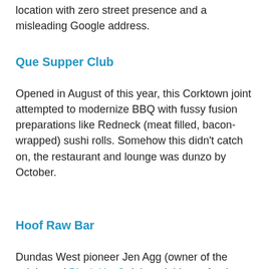location with zero street presence and a misleading Google address.
Que Supper Club
Opened in August of this year, this Corktown joint attempted to modernize BBQ with fussy fusion preparations like Redneck (meat filled, bacon-wrapped) sushi rolls. Somehow this didn't catch on, the restaurant and lounge was dunzo by October.
Hoof Raw Bar
Dundas West pioneer Jen Agg (owner of the celebrated Black Hoof) debuted this seafood-centric bar back in May 2012. Just over a year later, the cool concept was put on ice, only to be recently reincarnated as Haitian eatery Rhum Corner. Perhaps not a flop so much as a case of culinary ADHD.